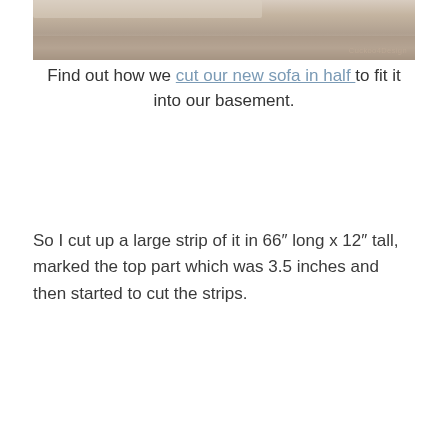[Figure (photo): Top portion of a photo showing a wooden floor with a rug and some objects, watermarked with 'Cuckoo4Design']
Find out how we cut our new sofa in half to fit it into our basement.
So I cut up a large strip of it in 66″ long x 12″ tall, marked the top part which was 3.5 inches and then started to cut the strips.